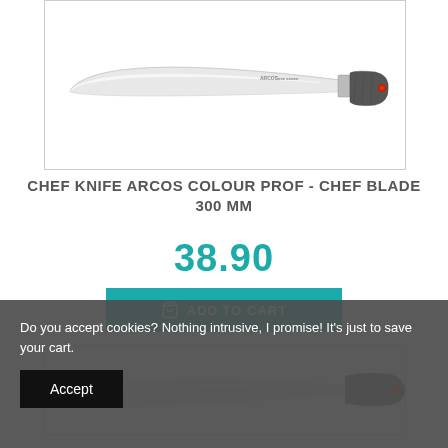[Figure (photo): Chef knife with white blade and grey handle with red dot, Arcos Colour Prof brand, on white background]
CHEF KNIFE ARCOS COLOUR PROF - CHEF BLADE 300 MM
38.90
ADD TO CART
[Figure (photo): Partial view of another knife product in a bordered box]
Do you accept cookies? Nothing intrusive, I promise! It's just to save your cart.
Accept